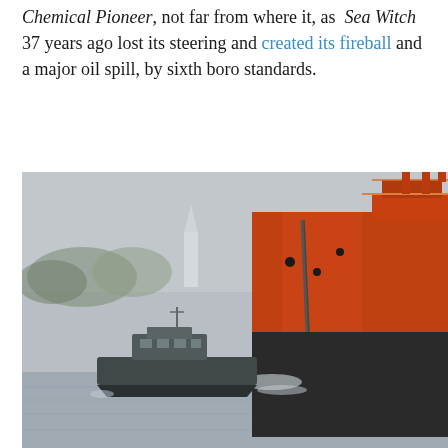Chemical Pioneer, not far from where it, as Sea Witch 37 years ago lost its steering and created its fireball and a major oil spill, by sixth boro standards.
[Figure (photo): A large orange and black tanker ship on a grey river with a small patrol or escort boat alongside it. In the background is a misty shoreline with trees and a white church steeple visible.]